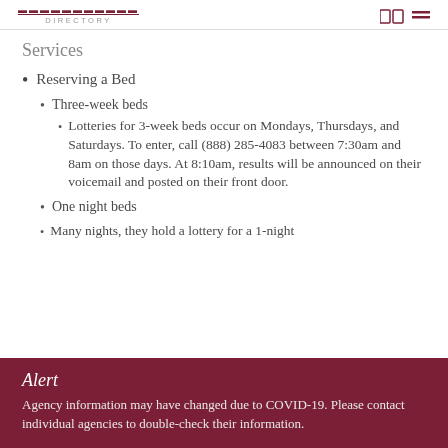DIRECTORY
Services
Reserving a Bed
Three-week beds
Lotteries for 3-week beds occur on Mondays, Thursdays, and Saturdays. To enter, call (888) 285-4083 between 7:30am and 8am on those days. At 8:10am, results will be announced on their voicemail and posted on their front door.
One night beds
Many nights, they hold a lottery for a 1-night
Alert
Agency information may have changed due to COVID-19. Please contact individual agencies to double-check their information.